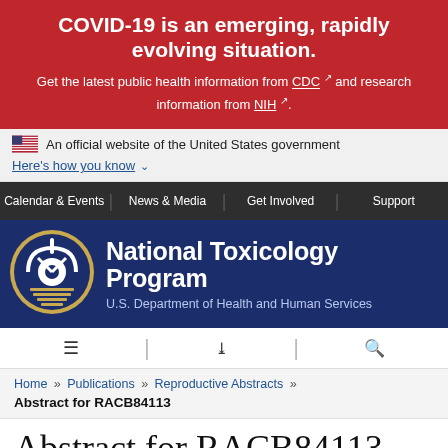COVID-19 is an emerging, rapidly evolving situation. Get the latest public health information from CDC and research information from NIH.
An official website of the United States government
Here's how you know
Calendar & Events | News & Media | Get Involved | Support
[Figure (logo): National Toxicology Program logo - circular seal with NTP emblem, U.S. Department of Health and Human Services]
National Toxicology Program U.S. Department of Health and Human Services
Menu | Share | Search icons
Home » Publications » Reproductive Abstracts »
Abstract for RACB84113
Abstract for RACB84113